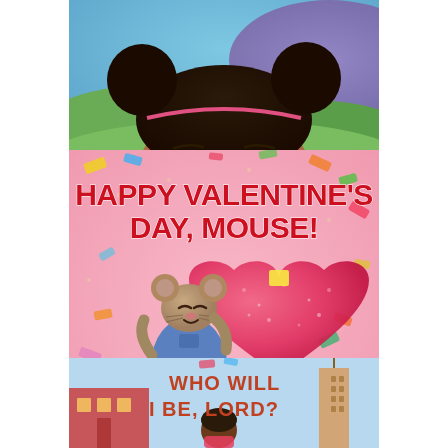[Figure (illustration): Top book cover: illustrated close-up of a young girl with dark hair in two buns/mouse ears, eyes closed, warm brown skin, against a colorful background of blue sky and hills]
[Figure (illustration): Middle book cover: 'Happy Valentine's Day, Mouse!' by Laura Numeroff and Felicia Bond. Pink background with colorful confetti, a cartoon mouse in blue overalls holding a glittery pink heart, with the title in bold red letters and author names at bottom right.]
[Figure (illustration): Bottom book cover: 'Who Will I Be, Lord?' showing a young Black child with text in hand-lettered style, colorful illustrated city background.]